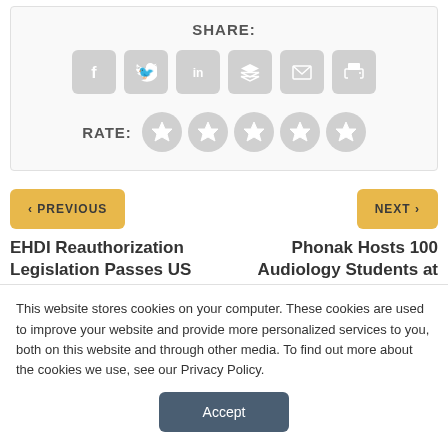SHARE:
[Figure (infographic): Social share icons: Facebook, Twitter, LinkedIn, Buffer, Email, Print — gray rounded square buttons]
RATE:
[Figure (infographic): Five gray star rating circles]
< PREVIOUS
NEXT >
EHDI Reauthorization Legislation Passes US
Phonak Hosts 100 Audiology Students at
This website stores cookies on your computer. These cookies are used to improve your website and provide more personalized services to you, both on this website and through other media. To find out more about the cookies we use, see our Privacy Policy.
Accept